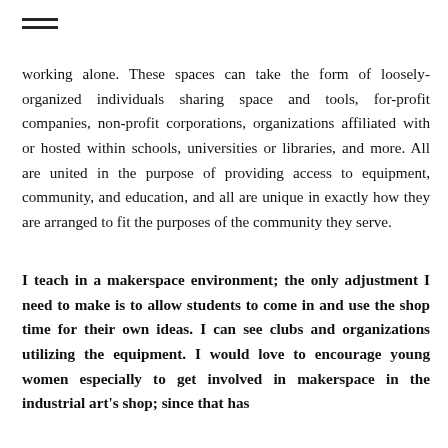working alone. These spaces can take the form of loosely-organized individuals sharing space and tools, for-profit companies, non-profit corporations, organizations affiliated with or hosted within schools, universities or libraries, and more. All are united in the purpose of providing access to equipment, community, and education, and all are unique in exactly how they are arranged to fit the purposes of the community they serve.
I teach in a makerspace environment; the only adjustment I need to make is to allow students to come in and use the shop time for their own ideas. I can see clubs and organizations utilizing the equipment. I would love to encourage young women especially to get involved in makerspace in the industrial art's shop; since that has